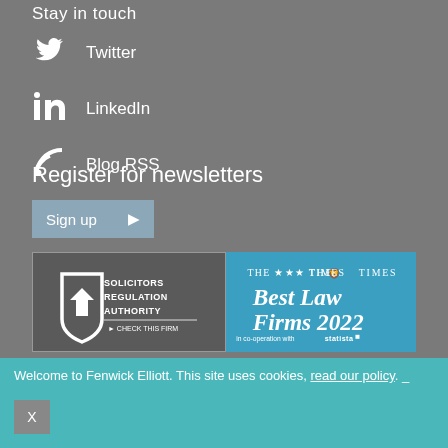Stay in touch
Twitter
LinkedIn
Blog RSS
Register for newsletters
Sign up
[Figure (logo): Solicitors Regulation Authority — Check This Firm logo badge]
[Figure (logo): The Times Best Law Firms 2022, in co-operation with Statista badge]
Welcome to Fenwick Elliott. This site uses cookies, read our policy. _